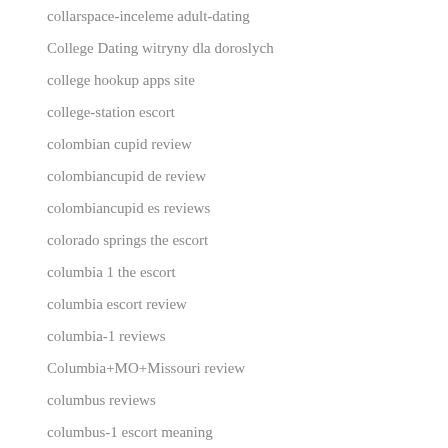collarspace-inceleme adult-dating
College Dating witryny dla doroslych
college hookup apps site
college-station escort
colombian cupid review
colombiancupid de review
colombiancupid es reviews
colorado springs the escort
columbia 1 the escort
columbia escort review
columbia-1 reviews
Columbia+MO+Missouri review
columbus reviews
columbus-1 escort meaning
columbus-1 review